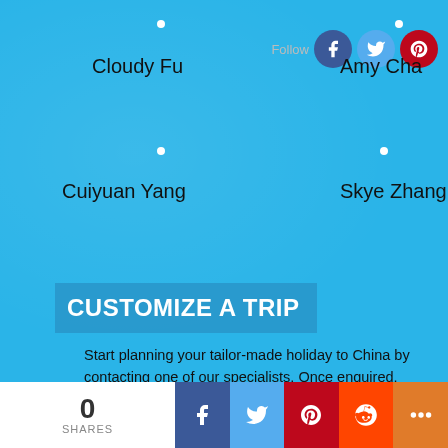Follow
Cloudy Fu
Amy Cha
Estella Li
Cuiyuan Yang
Skye Zhang
CUSTOMIZE A TRIP
Start planning your tailor-made holiday to China by contacting one of our specialists. Once enquired, you'll get a response within 0.5~23.5 hours.
CUSTOMIZE A TRIP
0
SHARES